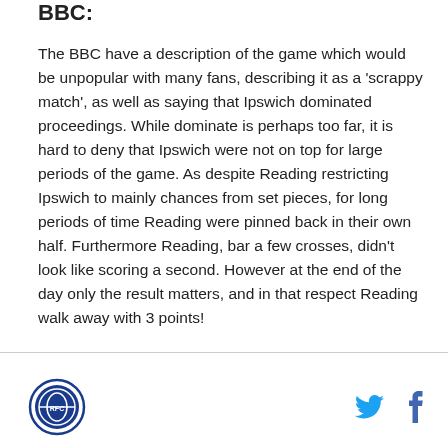BBC:
The BBC have a description of the game which would be unpopular with many fans, describing it as a 'scrappy match', as well as saying that Ipswich dominated proceedings. While dominate is perhaps too far, it is hard to deny that Ipswich were not on top for large periods of the game. As despite Reading restricting Ipswich to mainly chances from set pieces, for long periods of time Reading were pinned back in their own half. Furthermore Reading, bar a few crosses, didn't look like scoring a second. However at the end of the day only the result matters, and in that respect Reading walk away with 3 points!
[Figure (logo): Reading FC circular badge/crest logo in blue]
[Figure (logo): Twitter bird icon in blue]
[Figure (logo): Facebook f icon in blue]